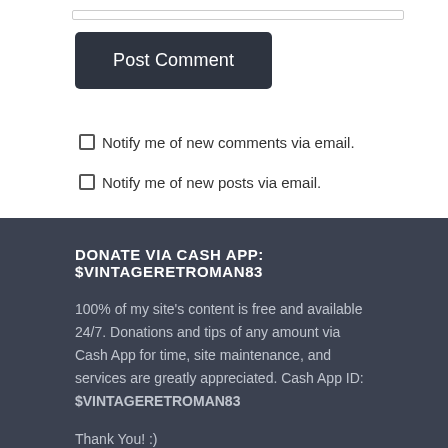[Figure (other): Input text field (partial, top of page)]
Post Comment
Notify me of new comments via email.
Notify me of new posts via email.
DONATE VIA CASH APP: $VINTAGERETROMAN83
100% of my site's content is free and available 24/7. Donations and tips of any amount via Cash App for time, site maintenance, and services are greatly appreciated. Cash App ID: $VINTAGERETROMAN83
Thank You! :)